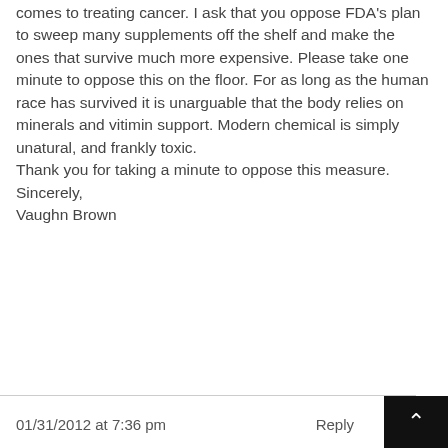comes to treating cancer. I ask that you oppose FDA's plan to sweep many supplements off the shelf and make the ones that survive much more expensive. Please take one minute to oppose this on the floor. For as long as the human race has survived it is unarguable that the body relies on minerals and vitimin support. Modern chemical is simply unatural, and frankly toxic.
Thank you for taking a minute to oppose this measure.
Sincerely,
Vaughn Brown
01/31/2012 at 7:36 pm
Reply